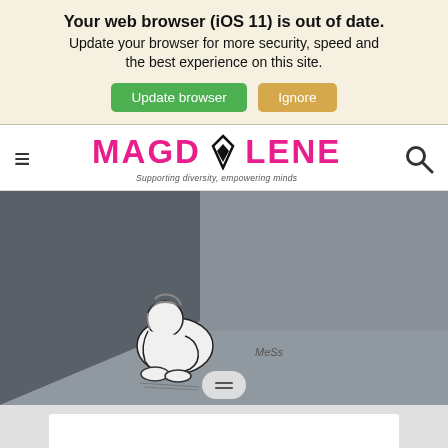Your web browser (iOS 11) is out of date. Update your browser for more security, speed and the best experience on this site. [Update browser] [Ignore]
[Figure (logo): MAGDOLENE logo with pen nib icon replacing the O, tagline: Supporting diversity, empowering minds]
[Figure (illustration): Illustration of a person sitting curled up hugging their knees in the corner of a grey room, black and white drawing style, signed 'Mess']